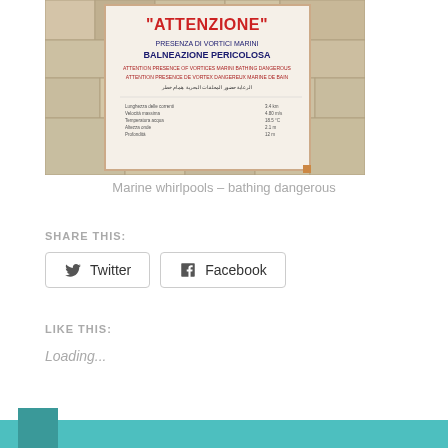[Figure (photo): Warning sign against a stone wall background. Sign reads: 'ATTENZIONE' in red, 'PRESENZA DI VORTICI MARINI BALNEAZIONE PERICOLOSA' in dark blue, followed by text in English, French, and Arabic warning of dangerous marine vortices and dangerous bathing.]
Marine whirlpools – bathing dangerous
SHARE THIS:
Twitter  Facebook
LIKE THIS:
Loading...